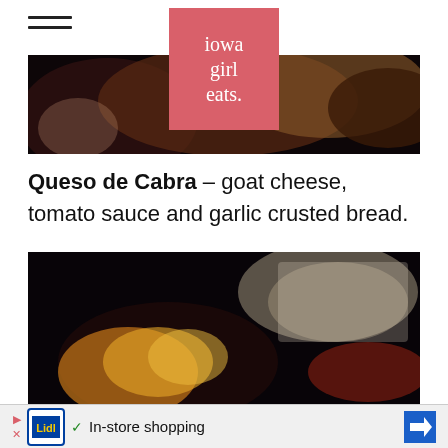iowa girl eats.
[Figure (photo): Dark food photo at top, partially obscured by logo overlay]
Queso de Cabra – goat cheese, tomato sauce and garlic crusted bread.
[Figure (photo): Dark restaurant photo showing a hand with food dish, candlelight visible]
In-store shopping (advertisement)